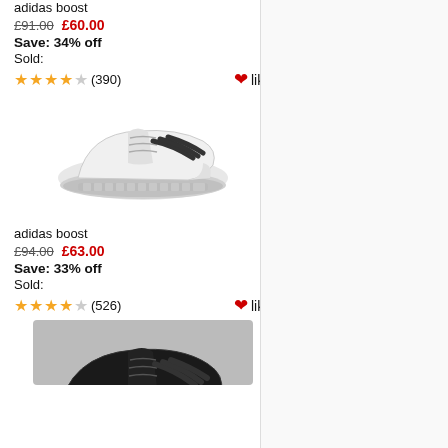adidas boost (product 1, partial top)
£91.00  £60.00
Save: 34% off
Sold:
★★★★☆ (390)  ❤like
[Figure (photo): White Adidas Boost running shoe on white background]
adidas boost
£94.00  £63.00
Save: 33% off
Sold:
★★★★☆ (526)  ❤like
[Figure (photo): Black Adidas Boost running shoe, partially visible at bottom]